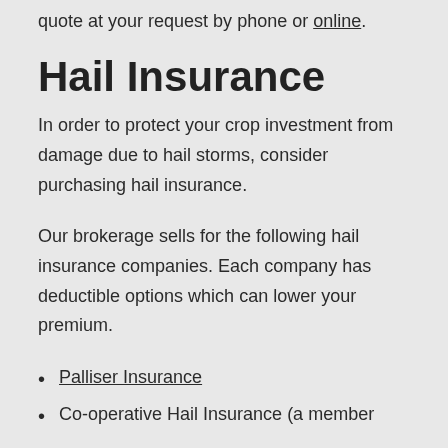quote at your request by phone or online.
Hail Insurance
In order to protect your crop investment from damage due to hail storms, consider purchasing hail insurance.
Our brokerage sells for the following hail insurance companies. Each company has deductible options which can lower your premium.
Palliser Insurance
Co-operative Hail Insurance (a member